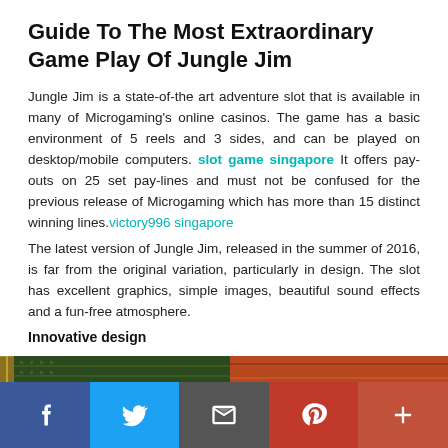Guide To The Most Extraordinary Game Play Of Jungle Jim
Jungle Jim is a state-of-the art adventure slot that is available in many of Microgaming's online casinos. The game has a basic environment of 5 reels and 3 sides, and can be played on desktop/mobile computers. slot game singapore It offers pay-outs on 25 set pay-lines and must not be confused for the previous release of Microgaming which has more than 15 distinct winning lines.victory996 singapore The latest version of Jungle Jim, released in the summer of 2016, is far from the original variation, particularly in design. The slot has excellent graphics, simple images, beautiful sound effects and a fun-free atmosphere.
Innovative design
[Figure (photo): Close-up photo of colorful woven or textured materials in green and orange/red tones, possibly casino or game themed decorative items.]
Social sharing bar: Facebook, Twitter, Email, Pinterest, More